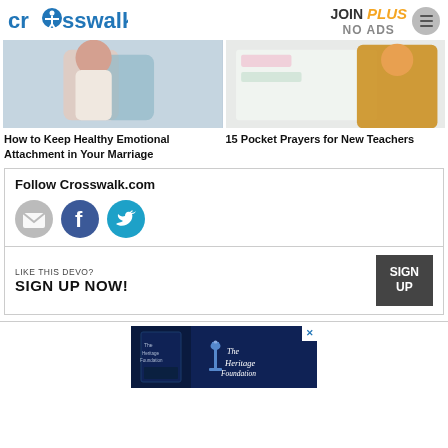crosswalk.com  JOIN PLUS NO ADS
[Figure (photo): Two article thumbnail images side by side: left shows a couple embracing, right shows a teacher at a whiteboard]
How to Keep Healthy Emotional Attachment in Your Marriage
15 Pocket Prayers for New Teachers
Follow Crosswalk.com
[Figure (infographic): Social media follow icons: email/envelope, Facebook (blue circle with f), Twitter (teal circle with bird)]
LIKE THIS DEVO?
SIGN UP NOW!
SIGN UP
[Figure (photo): The Heritage Foundation advertisement with dark blue book cover and logo]